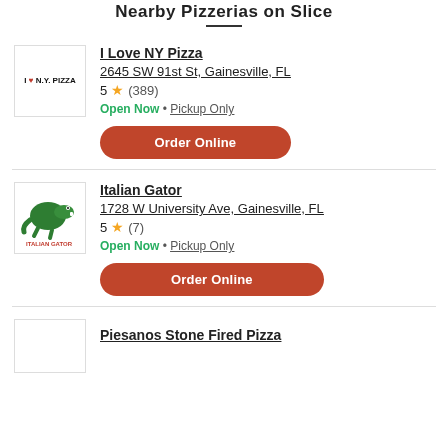Nearby Pizzerias on Slice
I Love NY Pizza
2645 SW 91st St, Gainesville, FL
5 ★ (389)
Open Now • Pickup Only
Order Online
Italian Gator
1728 W University Ave, Gainesville, FL
5 ★ (7)
Open Now • Pickup Only
Order Online
Piesanos Stone Fired Pizza